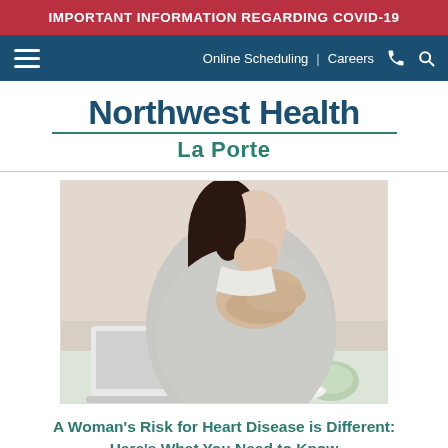IMPORTANT INFORMATION REGARDING COVID-19
Online Scheduling | Careers
Northwest Health La Porte
[Figure (photo): A woman in a light grey cardigan clutching her chest with both hands, appearing to be in pain, possibly experiencing heart disease symptoms. She is seated at a desk with a laptop and some items in the foreground.]
A Woman's Risk for Heart Disease is Different: Here's What You Need to Know